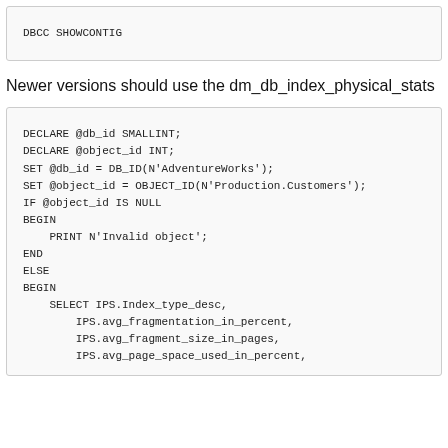DBCC SHOWCONTIG
Newer versions should use the dm_db_index_physical_stats
DECLARE @db_id SMALLINT;
DECLARE @object_id INT;
SET @db_id = DB_ID(N'AdventureWorks');
SET @object_id = OBJECT_ID(N'Production.Customers');
IF @object_id IS NULL
BEGIN
    PRINT N'Invalid object';
END
ELSE
BEGIN
    SELECT IPS.Index_type_desc,
        IPS.avg_fragmentation_in_percent,
        IPS.avg_fragment_size_in_pages,
        IPS.avg_page_space_used_in_percent,